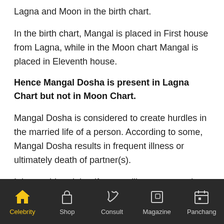Lagna and Moon in the birth chart.
In the birth chart, Mangal is placed in First house from Lagna, while in the Moon chart Mangal is placed in Eleventh house.
Hence Mangal Dosha is present in Lagna Chart but not in Moon Chart.
Mangal Dosha is considered to create hurdles in the married life of a person. According to some, Mangal Dosha results in frequent illness or ultimately death of partner(s).
It is considered that if a manglik person marries to another manglik person then the manglik dosha gets cancelled and
Celebrity  Shop  Consult  Magazine  Panchang